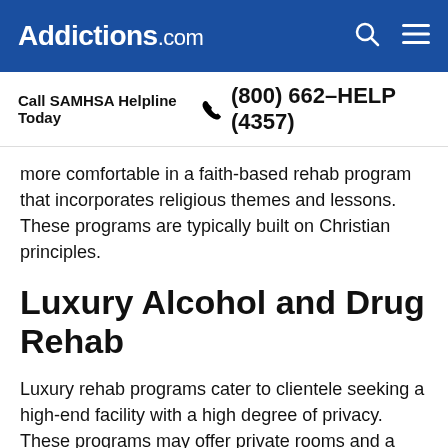Addictions.com
Call SAMHSA Helpline Today  (800) 662-HELP (4357)
more comfortable in a faith-based rehab program that incorporates religious themes and lessons. These programs are typically built on Christian principles.
Luxury Alcohol and Drug Rehab
Luxury rehab programs cater to clientele seeking a high-end facility with a high degree of privacy. These programs may offer private rooms and a limited number of beds to ensure a low patient-to-staff ratio. Luxury facilities typically offer additional